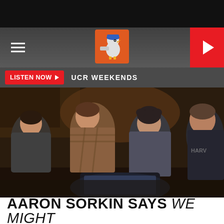UCR (Ultimate Classic Rock) website header with hamburger menu, logo, and play button
LISTEN NOW ▶  UCR WEEKENDS
[Figure (photo): Movie still showing four young men — Andrew Garfield, Justin Timberlake, Jesse Eisenberg and another actor — gathered around a computer monitor in a dimly lit room, from The Social Network]
AARON SORKIN SAYS WE MIGHT